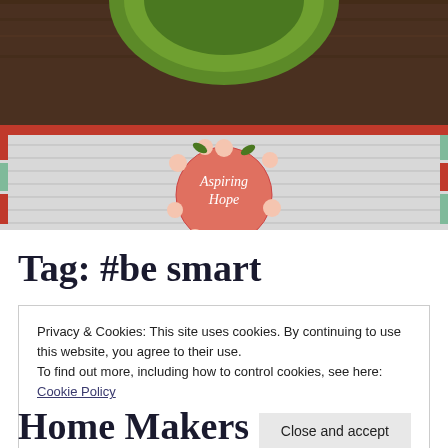[Figure (photo): Header photo of a notebook with colored tabs, a fountain pen, and a green cup. In the center is a circular logo reading 'Aspiring Hope' with floral decoration.]
Tag: #be smart
Privacy & Cookies: This site uses cookies. By continuing to use this website, you agree to their use.
To find out more, including how to control cookies, see here: Cookie Policy
Close and accept
Home Makers